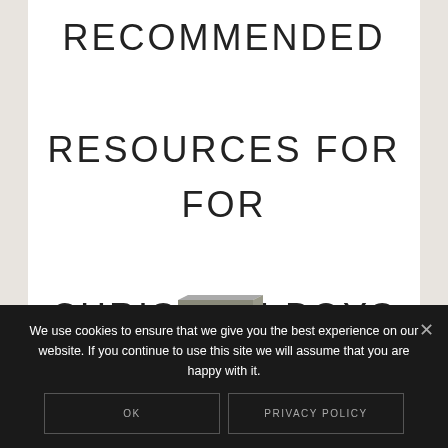RECOMMENDED RESOURCES FOR FOR CHRISTIAN BOYS
[Figure (photo): A book titled 'NIV Bible Teen' shown as a 3D book cover image]
We use cookies to ensure that we give you the best experience on our website. If you continue to use this site we will assume that you are happy with it.